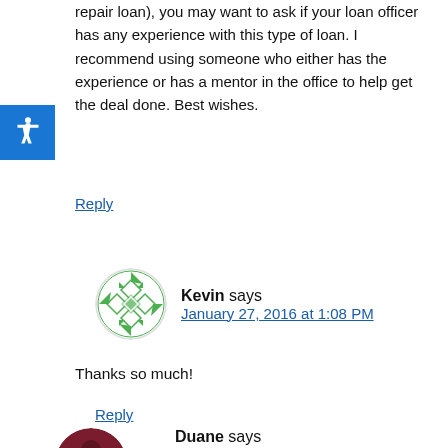repair loan), you may want to ask if your loan officer has any experience with this type of loan. I recommend using someone who either has the experience or has a mentor in the office to help get the deal done. Best wishes.
Reply
Kevin says
January 27, 2016 at 1:08 PM
Thanks so much!
Reply
Duane says